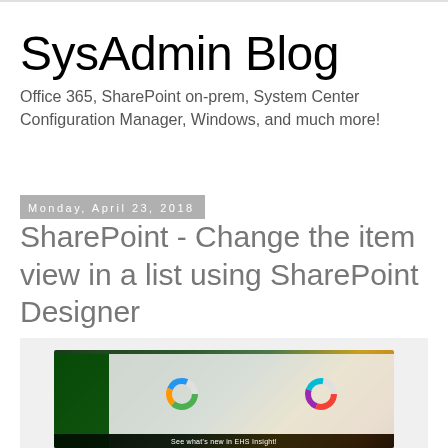SysAdmin Blog
Office 365, SharePoint on-prem, System Center Configuration Manager, Windows, and much more!
Monday, April 23, 2018
SharePoint - Change the item view in a list using SharePoint Designer
[Figure (screenshot): Screenshot of EHS Insight software showing dashboard with donut charts and caption 'See what's new in EHS Insight!']